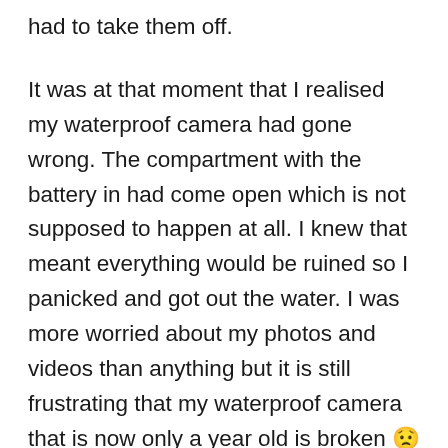had to take them off.
It was at that moment that I realised my waterproof camera had gone wrong. The compartment with the battery in had come open which is not supposed to happen at all. I knew that meant everything would be ruined so I panicked and got out the water. I was more worried about my photos and videos than anything but it is still frustrating that my waterproof camera that is now only a year old is broken 🙁 grr. But it's okay, next year I'll treat myself to a Go Pro! My photos and videos actually ended up being fine which is great as I